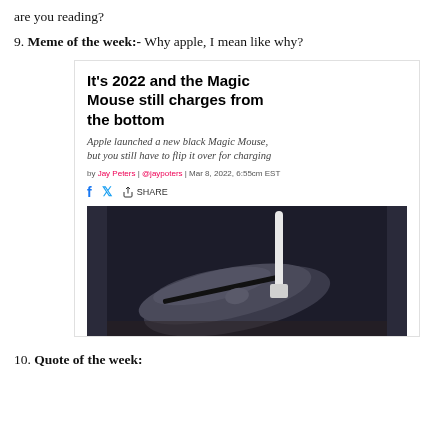are you reading?
9. Meme of the week:- Why apple, I mean like why?
[Figure (screenshot): Screenshot of a news article titled 'It's 2022 and the Magic Mouse still charges from the bottom' by Jay Peters on The Verge, with subheadline 'Apple launched a new black Magic Mouse, but you still have to flip it over for charging', byline 'by Jay Peters | @jaypoters | Mar 8, 2022, 6:55cm EST', social sharing icons, and a photo of an Apple Magic Mouse being charged from the bottom with a white cable plugged into the underside.]
10. Quote of the week: